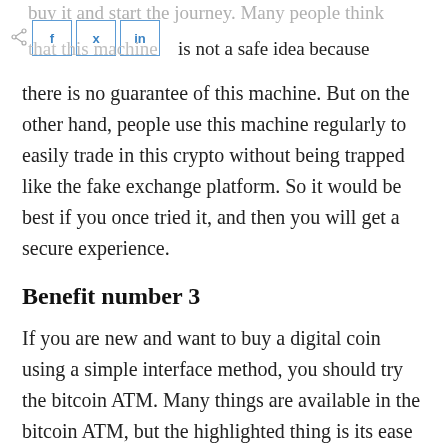buy it and start the journey. Many people think that this machine is not a safe idea because
there is no guarantee of this machine. But on the other hand, people use this machine regularly to easily trade in this crypto without being trapped like the fake exchange platform. So it would be best if you once tried it, and then you will get a secure experience.
Benefit number 3
If you are new and want to buy a digital coin using a simple interface method, you should try the bitcoin ATM. Many things are available in the bitcoin ATM, but the highlighted thing is its ease